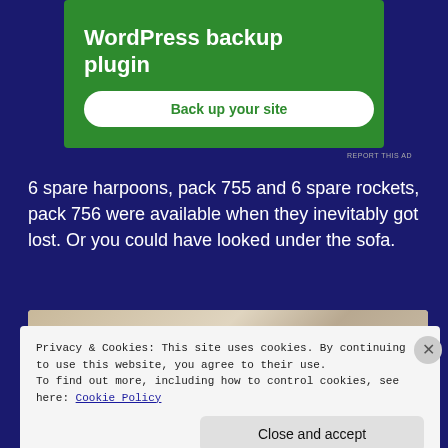[Figure (screenshot): Green advertisement banner for WordPress backup plugin with a white 'Back up your site' button]
REPORT THIS AD
6 spare harpoons, pack 755 and 6 spare rockets, pack 756 were available when they inevitably got lost. Or you could have looked under the sofa.
[Figure (photo): Partial image visible behind cookie consent banner, appears to show papers or documents with a blue bar element]
Privacy & Cookies: This site uses cookies. By continuing to use this website, you agree to their use.
To find out more, including how to control cookies, see here: Cookie Policy
Close and accept
REPORT THIS AD